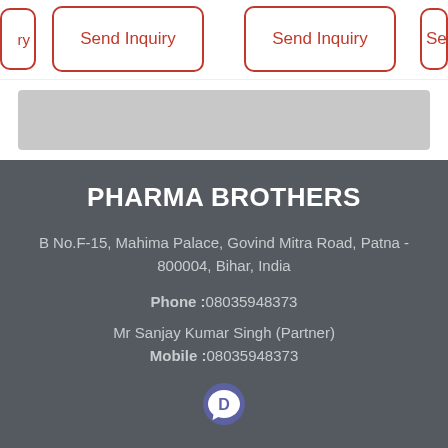Send Inquiry
Send Inquiry
PHARMA BROTHERS
B No.F-15, Mahima Palace, Govind Mitra Road, Patna - 800004, Bihar, India
Phone :08035948373
Mr Sanjay Kumar Singh (Partner)
Mobile :08035948373
[Figure (logo): Disqus logo icon - circular speech bubble with D letter in blue/purple]